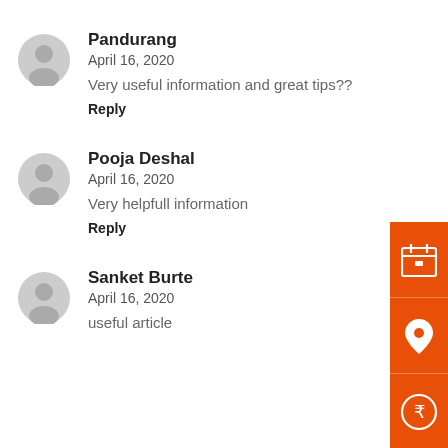Pandurang
April 16, 2020
Very useful information and great tips??
Reply
Pooja Deshal
April 16, 2020
Very helpfull information
Reply
Sanket Burte
April 16, 2020
useful article
[Figure (infographic): Three orange sidebar icons: calendar, location pin, and rupee coin]